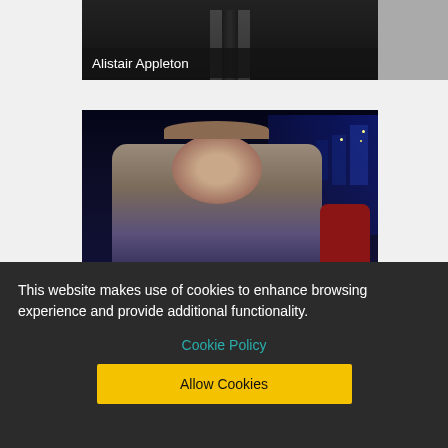[Figure (photo): Partial photo of Alistair Appleton in a dark suit, cropped at top of page, with a dark overlay caption bar showing his name]
Alistair Appleton
[Figure (photo): Photo of Alexander Armstrong smiling, seated in a red chair against a night city skyline background]
This website makes use of cookies to enhance browsing experience and provide additional functionality.
Cookie Policy
Allow Cookies